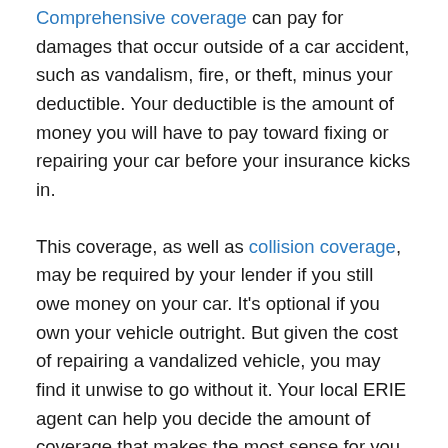Comprehensive coverage can pay for damages that occur outside of a car accident, such as vandalism, fire, or theft, minus your deductible. Your deductible is the amount of money you will have to pay toward fixing or repairing your car before your insurance kicks in.
This coverage, as well as collision coverage, may be required by your lender if you still owe money on your car. It's optional if you own your vehicle outright. But given the cost of repairing a vandalized vehicle, you may find it unwise to go without it. Your local ERIE agent can help you decide the amount of coverage that makes the most sense for you.
Repair costs will vary based on your car's make and model as well as the extent of the damage. Without the right protection, you'll pay for those repairs out of your